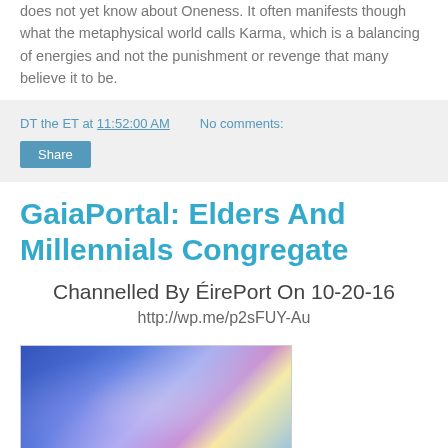does not yet know about Oneness. It often manifests though what the metaphysical world calls Karma, which is a balancing of energies and not the punishment or revenge that many believe it to be.
DT the ET at 11:52:00 AM   No comments:
Share
GaiaPortal: Elders And Millennials Congregate
Channelled By ÉirePort On 10-20-16
http://wp.me/p2sFUY-Au
[Figure (photo): Blue and purple abstract glowing image with soft light effects suggesting ethereal or spiritual imagery]